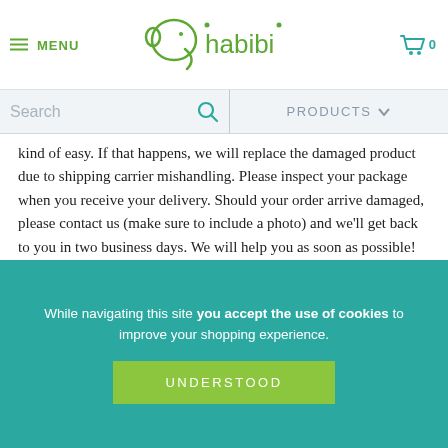MENU | habibi | 0
Search | PRODUCTS
kind of easy. If that happens, we will replace the damaged product due to shipping carrier mishandling. Please inspect your package when you receive your delivery. Should your order arrive damaged, please contact us (make sure to include a photo) and we'll get back to you in two business days. We will help you as soon as possible!
Questions? Please contact us any time.
[Figure (illustration): Delivery truck icon]
WE SHIP FROM COLOMBIA
While navigating this site you accept the use of cookies to improve your shopping experience.
UNDERSTOOD